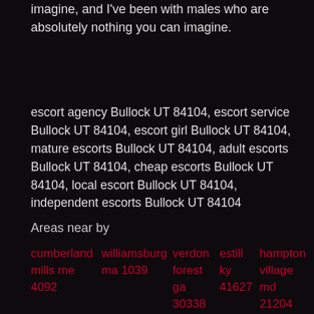imagine, and I've been with males who are absolutely nothing you can imagine.
escort agency Bullock UT 84104, escort service Bullock UT 84104, escort girl Bullock UT 84104, mature escorts Bullock UT 84104, adult escorts Bullock UT 84104, cheap escorts Bullock UT 84104, local escort Bullock UT 84104, independent escorts Bullock UT 84104
Areas near by
cumberland mills me 4092 williamsburg ma 1039 verdon forest ga 30338 estill ky 41627 hampton village md 21204